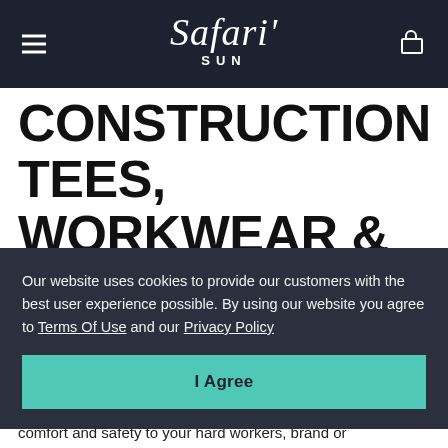Safari Sun
CONSTRUCTION TEES, WORKWEAR & MORE
Our website uses cookies to provide our customers with the best user experience possible. By using our website you agree to Terms Of Use and our Privacy Policy
I Agree
comfort and safety to your hard workers, brand or